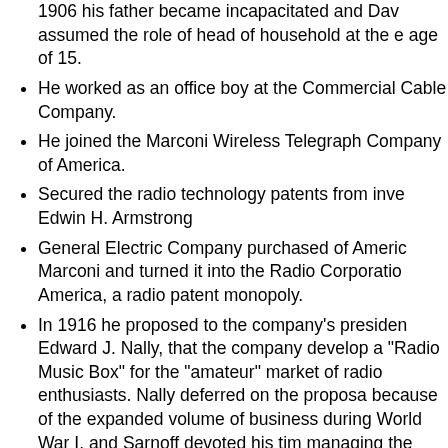1906 his father became incapacitated and Dav assumed the role of head of household at the age of 15.
He worked as an office boy at the Commercial Cable Company.
He joined the Marconi Wireless Telegraph Company of America.
Secured the radio technology patents from inve Edwin H. Armstrong
General Electric Company purchased of Americ Marconi and turned it into the Radio Corporatio America, a radio patent monopoly.
In 1916 he proposed to the company's presiden Edward J. Nally, that the company develop a "Radio Music Box" for the "amateur" market of radio enthusiasts. Nally deferred on the propos because of the expanded volume of business during World War I, and Sarnoff devoted his tim managing the company's factory in Roselle Par New Jersey.
When Sarnoff was put in charge of radio broadcasting at RCA, he organized to meet with